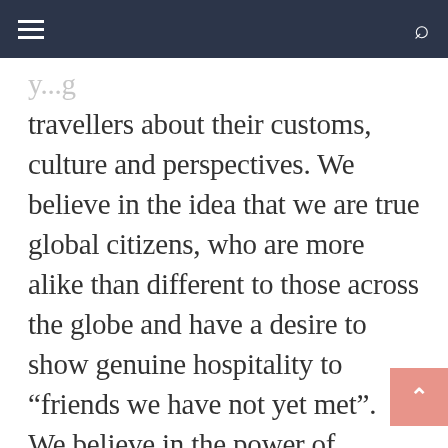travellers about their customs, culture and perspectives. We believe in the idea that we are true global citizens, who are more alike than different to those across the globe and have a desire to show genuine hospitality to “friends we have not yet met”. We believe in the power of hospitality and real friendship to create powerful connections, break down negative stereotype and foster positive diversity. We participate in Couchsurfing in so many ways. We host regularly, surf both overseas and locally, attend CS events, host CS events, meet up with members, chat to fellow ambassadors and members online,